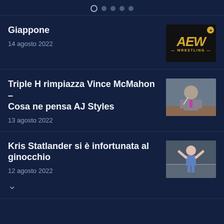[Figure (infographic): Pagination dots: one open circle (active) followed by four filled circles]
Giappone
14 agosto 2022
[Figure (logo): AEW Wrestling logo on black background with gold letters]
Triple H rimpiazza Vince McMahon – Cosa ne pensa AJ Styles
13 agosto 2022
[Figure (photo): Photo of a man in a grey suit with a microphone on a wrestling stage]
Kris Statlander si è infortunata al ginocchio
12 agosto 2022
[Figure (photo): Photo of female wrestler Kris Statlander posing in ring attire]